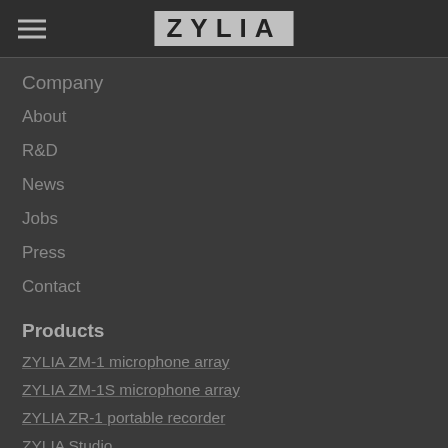ZYLIA
Company
About
R&D
News
Jobs
Press
Contact
Products
ZYLIA ZM-1 microphone array
ZYLIA ZM-1S microphone array
ZYLIA ZR-1 portable recorder
ZYLIA Studio
ZYLIA Studio PRO plugin
ZYLIA Ambisonics Converter